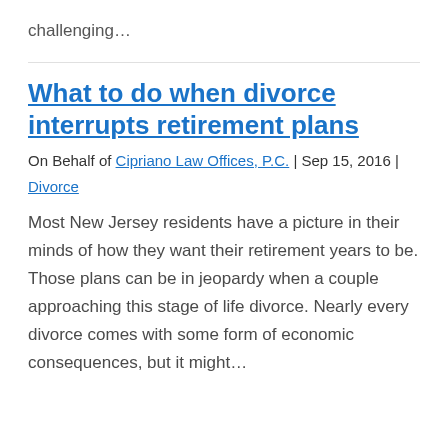challenging…
What to do when divorce interrupts retirement plans
On Behalf of Cipriano Law Offices, P.C. | Sep 15, 2016 |
Divorce
Most New Jersey residents have a picture in their minds of how they want their retirement years to be. Those plans can be in jeopardy when a couple approaching this stage of life divorce. Nearly every divorce comes with some form of economic consequences, but it might…